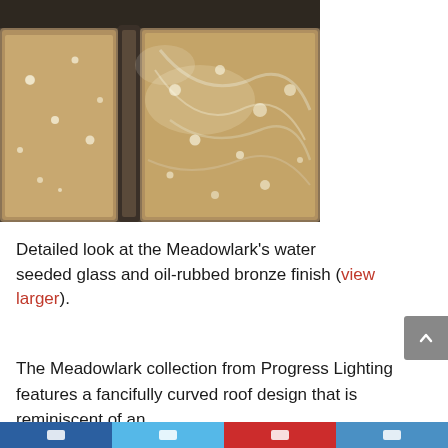[Figure (photo): Close-up photo of water seeded glass panels with oil-rubbed bronze finish framing. The glass shows a textured, bubbled surface with light reflecting through it, set in dark bronze/gunmetal colored frames.]
Detailed look at the Meadowlark's water seeded glass and oil-rubbed bronze finish (view larger).
The Meadowlark collection from Progress Lighting features a fancifully curved roof design that is reminiscent of an